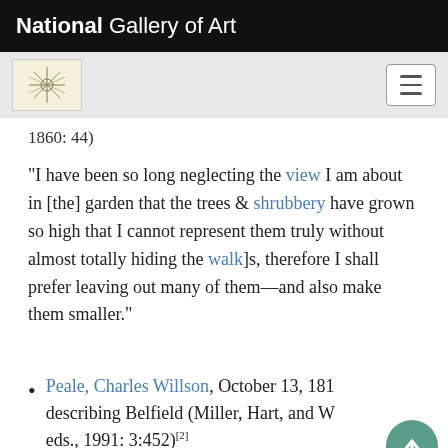National Gallery of Art
1860: 44)
"I have been so long neglecting the view I am about in [the] garden that the trees & shrubbery have grown so high that I cannot represent them truly without almost totally hiding the walk]s, therefore I shall prefer leaving out many of them—and also make them smaller."
Peale, Charles Willson, October 13, 1816, describing Belfield (Miller, Hart, and W eds., 1991: 3:452)[2]